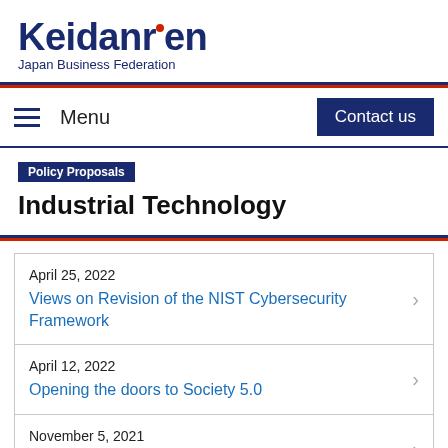[Figure (logo): Keidanren Japan Business Federation logo with dark navy text and a small red dot over the 'i']
Menu
Contact us
Policy Proposals
Industrial Technology
April 25, 2022
Views on Revision of the NIST Cybersecurity Framework
April 12, 2022
Opening the doors to Society 5.0
November 5, 2021
Joint Statement 2021 by the US-Japan Internet Economy Policy Working Group